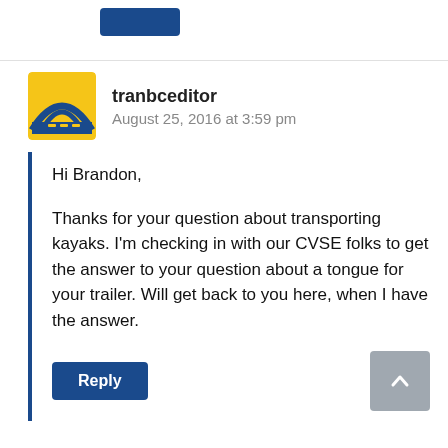[Figure (logo): Blue reply button fragment at top of page]
tranbceditor
August 25, 2016 at 3:59 pm
Hi Brandon,

Thanks for your question about transporting kayaks. I'm checking in with our CVSE folks to get the answer to your question about a tongue for your trailer. Will get back to you here, when I have the answer.
Reply